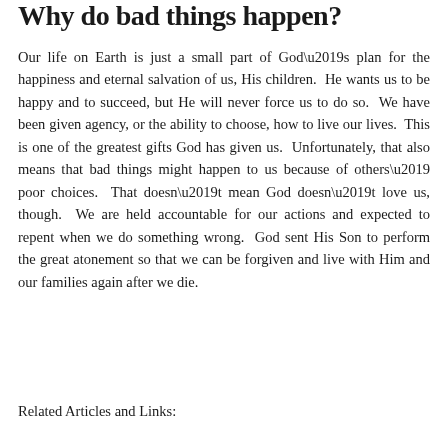Why do bad things happen?
Our life on Earth is just a small part of God’s plan for the happiness and eternal salvation of us, His children. He wants us to be happy and to succeed, but He will never force us to do so. We have been given agency, or the ability to choose, how to live our lives. This is one of the greatest gifts God has given us. Unfortunately, that also means that bad things might happen to us because of others’ poor choices. That doesn’t mean God doesn’t love us, though. We are held accountable for our actions and expected to repent when we do something wrong. God sent His Son to perform the great atonement so that we can be forgiven and live with Him and our families again after we die.
Related Articles and Links: